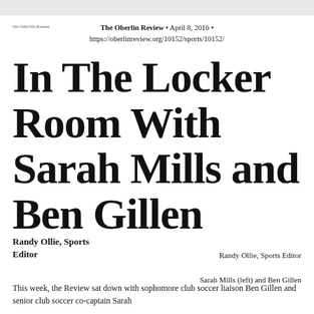The Oberlin Review • April 8, 2016 • https://oberlinreview.org/10152/sports/10152/
In The Locker Room With Sarah Mills and Ben Gillen
Randy Ollie, Sports Editor
Randy Ollie, Sports Editor
Sarah Mills (left) and Ben Gillen
This week, the Review sat down with sophomore club soccer liaison Ben Gillen and senior club soccer co-captain Sarah